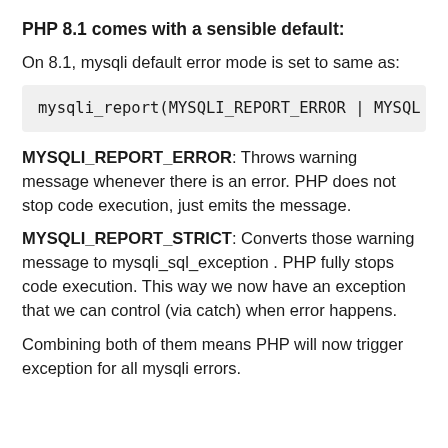PHP 8.1 comes with a sensible default:
On 8.1, mysqli default error mode is set to same as:
mysqli_report(MYSQLI_REPORT_ERROR | MYSQL
MYSQLI_REPORT_ERROR: Throws warning message whenever there is an error. PHP does not stop code execution, just emits the message.
MYSQLI_REPORT_STRICT: Converts those warning message to mysqli_sql_exception . PHP fully stops code execution. This way we now have an exception that we can control (via catch) when error happens.
Combining both of them means PHP will now trigger exception for all mysqli errors.